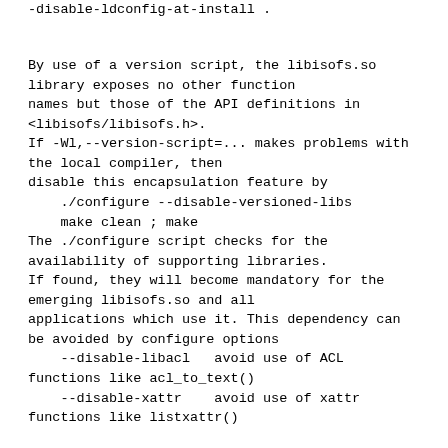-disable-ldconfig-at-install .
By use of a version script, the libisofs.so library exposes no other function names but those of the API definitions in <libisofs/libisofs.h>.
If -Wl,--version-script=... makes problems with the local compiler, then disable this encapsulation feature by
    ./configure --disable-versioned-libs
    make clean ; make
The ./configure script checks for the availability of supporting libraries.
If found, they will become mandatory for the emerging libisofs.so and all applications which use it. This dependency can be avoided by configure options
    --disable-libacl   avoid use of ACL functions like acl_to_text()
    --disable-xattr    avoid use of xattr functions like listxattr()